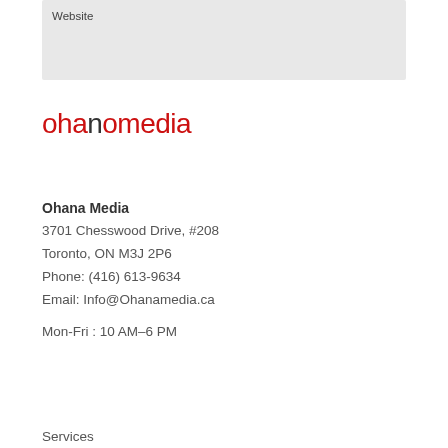Website
[Figure (logo): Ohana Media logo in red text with dark letter 'n']
Ohana Media
3701 Chesswood Drive, #208
Toronto, ON M3J 2P6
Phone: (416) 613-9634
Email: Info@Ohanamedia.ca

Mon-Fri : 10 AM–6 PM
Services